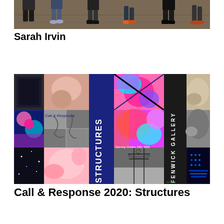[Figure (photo): Top portion of a photo showing people's legs and feet standing on a wooden floor in what appears to be a gallery or event space]
Sarah Irvin
[Figure (photo): Exhibition poster/collage for 'Call & Response 2020: Structures' at Fenwick Gallery, opening October 15th, 2020. Collage includes multiple artwork images, text reading STRUCTURES vertically and FENWICK GALLERY vertically, with colorful and black-and-white photographs.]
Call & Response 2020: Structures